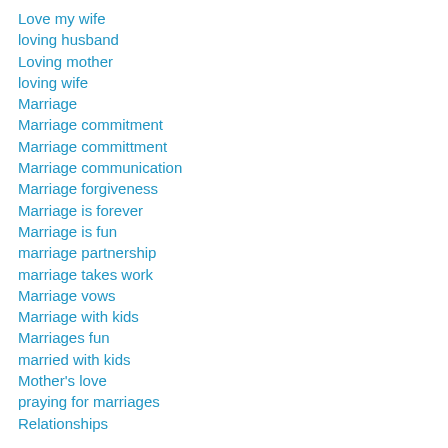Love my wife
loving husband
Loving mother
loving wife
Marriage
Marriage commitment
Marriage committment
Marriage communication
Marriage forgiveness
Marriage is forever
Marriage is fun
marriage partnership
marriage takes work
Marriage vows
Marriage with kids
Marriages fun
married with kids
Mother's love
praying for marriages
Relationships